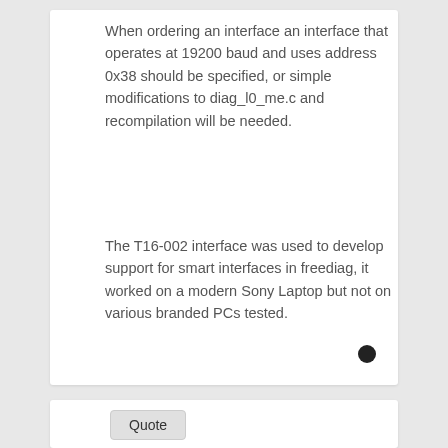When ordering an interface an interface that operates at 19200 baud and uses address 0x38 should be specified, or simple modifications to diag_l0_me.c and recompilation will be needed.
The T16-002 interface was used to develop support for smart interfaces in freediag, it worked on a modern Sony Laptop but not on various branded PCs tested.
Quote